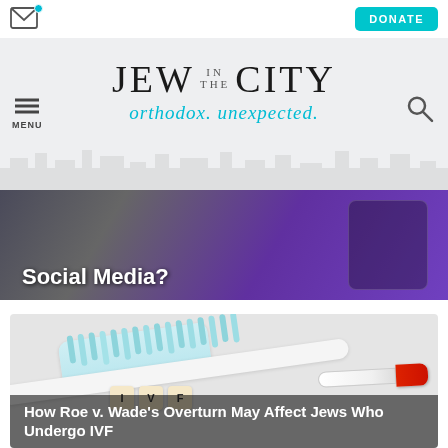Jew in the City — orthodox. unexpected.
[Figure (screenshot): Partial article image showing a smartphone on dark/purple background with article title 'Social Media?' visible]
Social Media?
[Figure (photo): Photo of a toothbrush, test tube with red cap, and letter blocks spelling IVF on a white background]
How Roe v. Wade's Overturn May Affect Jews Who Undergo IVF